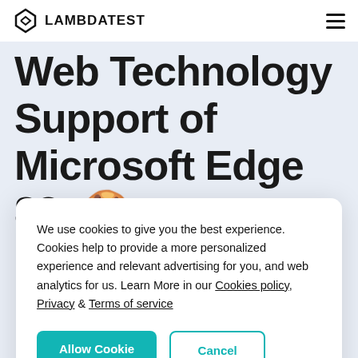LAMBDATEST
Web Technology Support of Microsoft Edge 88 🍪
We use cookies to give you the best experience. Cookies help to provide a more personalized experience and relevant advertising for you, and web analytics for us. Learn More in our Cookies policy, Privacy & Terms of service
Allow Cookie | Cancel